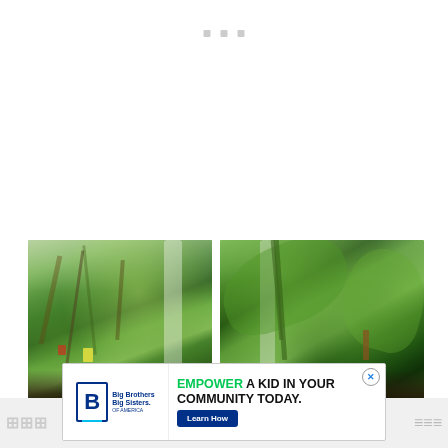[Figure (other): Navigation dots / slider indicators — three small grey squares near top center]
[Figure (photo): Close-up photograph of green herb plants (rosemary, basil) in an indoor garden/grow tower setup, left image]
[Figure (photo): Close-up photograph of green plants (tomato, basil) in an indoor garden/grow tower setup, right image]
[Figure (infographic): Advertisement banner at bottom: Big Brothers Big Sisters of America logo on left; text 'EMPOWER A KID IN YOUR COMMUNITY TODAY.' with green EMPOWER word; blue Learn How button; close (X) button]